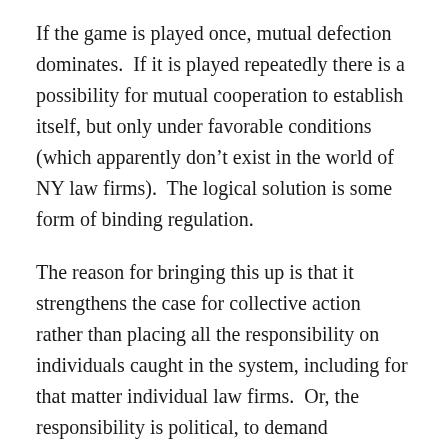If the game is played once, mutual defection dominates.  If it is played repeatedly there is a possibility for mutual cooperation to establish itself, but only under favorable conditions (which apparently don't exist in the world of NY law firms).  The logical solution is some form of binding regulation.
The reason for bringing this up is that it strengthens the case for collective action rather than placing all the responsibility on individuals caught in the system, including for that matter individual law firms.  Or, the responsibility is political, to demand constraints on the entire industry.  One place to start would be something like France's right-to-